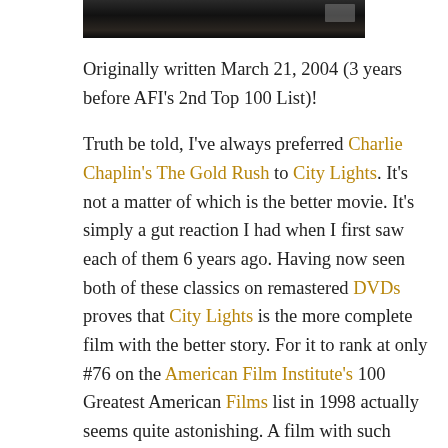[Figure (photo): Top portion of a dark movie-related image, partially cropped at the top of the page]
Originally written March 21, 2004 (3 years before AFI's 2nd Top 100 List)!
Truth be told, I've always preferred Charlie Chaplin's The Gold Rush to City Lights. It's not a matter of which is the better movie. It's simply a gut reaction I had when I first saw each of them 6 years ago. Having now seen both of these classics on remastered DVDs proves that City Lights is the more complete film with the better story. For it to rank at only #76 on the American Film Institute's 100 Greatest American Films list in 1998 actually seems quite astonishing. A film with such lasting appeal should have finished much higher. Heck, The Gold Rush managed to place 2 spots higher at #74. Everything about City Lights is note-